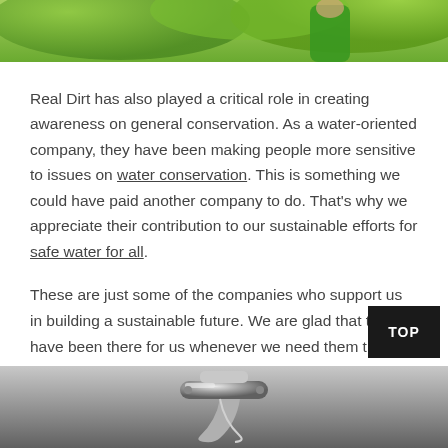[Figure (photo): Top portion of a photo showing a person in a green shirt outdoors among green foliage]
Real Dirt has also played a critical role in creating awareness on general conservation. As a water-oriented company, they have been making people more sensitive to issues on water conservation. This is something we could have paid another company to do. That's why we appreciate their contribution to our sustainable efforts for safe water for all.
These are just some of the companies who support us in building a sustainable future. We are glad that they have been there for us whenever we need them the most. It has been a pleasure working with them, and we hope our collaborations will continue to extend into the future.
[Figure (photo): Bottom portion of a photo showing a chrome water faucet/tap, black and white or desaturated]